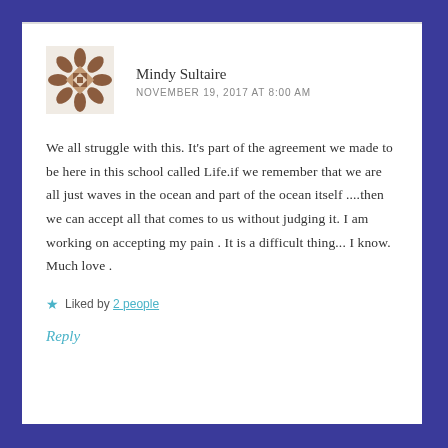[Figure (illustration): Decorative brown geometric snowflake/star avatar icon for user Mindy Sultaire]
Mindy Sultaire
NOVEMBER 19, 2017 AT 8:00 AM
We all struggle with this. It's part of the agreement we made to be here in this school called Life.if we remember that we are all just waves in the ocean and part of the ocean itself ....then we can accept all that comes to us without judging it. I am working on accepting my pain . It is a difficult thing... I know. Much love .
Liked by 2 people
Reply